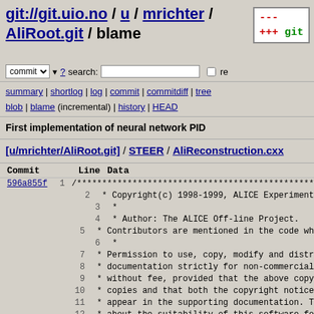git://git.uio.no / u / mrichter / AliRoot.git / blame
commit ? search: re
summary | shortlog | log | commit | commitdiff | tree blob | blame (incremental) | history | HEAD
First implementation of neural network PID
[u/mrichter/AliRoot.git] / STEER / AliReconstruction.cxx
| Commit | Line | Data |
| --- | --- | --- |
| 596a855f | 1 | /*********************************************** |
|  | 2 | * Copyright(c) 1998-1999, ALICE Experiment |
|  | 3 | * |
|  | 4 | * Author: The ALICE Off-line Project. |
|  | 5 | * Contributors are mentioned in the code wh |
|  | 6 | * |
|  | 7 | * Permission to use, copy, modify and distr |
|  | 8 | * documentation strictly for non-commercial |
|  | 9 | * without fee, provided that the above copy |
|  | 10 | * copies and that both the copyright notice |
|  | 11 | * appear in the supporting documentation. T |
|  | 12 | * about the suitability of this software fo |
|  | 13 | * provided "as is" without express or impli |
|  | 14 | *********************************************** |
|  | 15 |  |
|  | 16 | /* $Id$ */ |
|  | 17 |  |
|  | 18 | ////////////////////////////////////////////// |